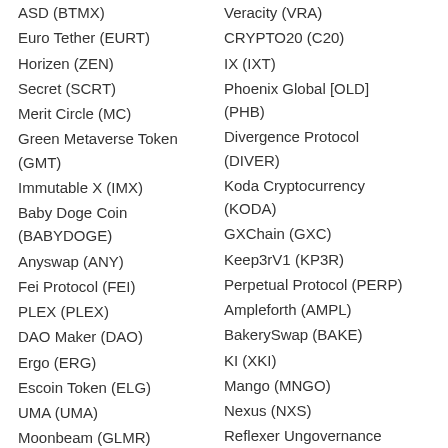ASD (BTMX)
Veracity (VRA)
Euro Tether (EURT)
CRYPTO20 (C20)
Horizen (ZEN)
IX (IXT)
Secret (SCRT)
Phoenix Global [OLD] (PHB)
Merit Circle (MC)
Divergence Protocol (DIVER)
Green Metaverse Token (GMT)
Koda Cryptocurrency (KODA)
Immutable X (IMX)
GXChain (GXC)
Baby Doge Coin (BABYDOGE)
Keep3rV1 (KP3R)
Anyswap (ANY)
Perpetual Protocol (PERP)
Fei Protocol (FEI)
Ampleforth (AMPL)
PLEX (PLEX)
BakerySwap (BAKE)
DAO Maker (DAO)
KI (XKI)
Ergo (ERG)
Mango (MNGO)
Escoin Token (ELG)
Nexus (NXS)
UMA (UMA)
Reflexer Ungovernance Token (FLX)
Moonbeam (GLMR)
Voyager Token (VGX)